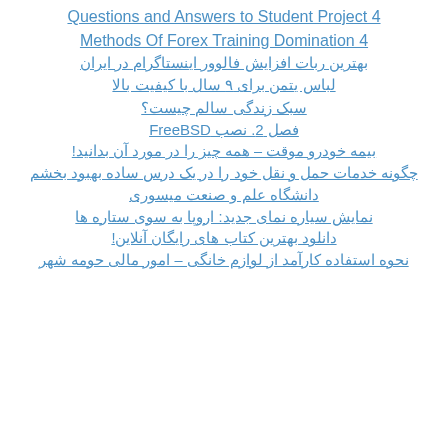Questions and Answers to Student Project 4
Methods Of Forex Training Domination 4
بهترین ربات افزایش فالوور اینستاگرام در ایران
لباس یتمن برای ۹ سال با کیفیت بالا
سبک زندگی سالم چیست؟
فصل 2. نصب FreeBSD
بیمه خودرو موقت – همه چیز را در مورد آن بدانید!
چگونه خدمات حمل و نقل خود را در یک درس ساده بهبود بخشم
دانشگاه علم و صنعت میسوری
نمایش سیاره نمای جدید: اروپا به سوی ستاره ها
دانلود بهترین کتاب های رایگان آنلاین!
نحوه استفاده کارآمد از لوازم خانگی – امور مالی حومه شهر